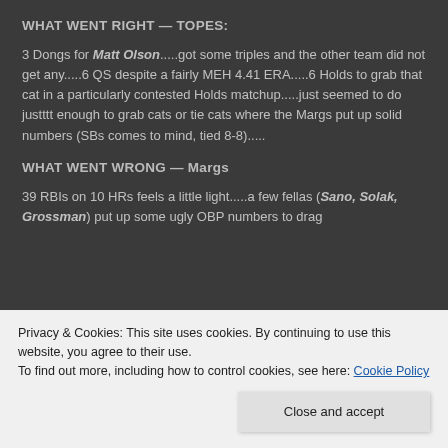WHAT WENT RIGHT — TOPES:
3 Dongs for Matt Olson.....got some triples and the other team did not get any.....6 QS despite a fairly MEH 4.41 ERA.....6 Holds to grab that cat in a particularly contested Holds matchup.....just seemed to do justttt enough to grab cats or tie cats where the Margs put up solid numbers (SBs comes to mind, tied 8-8).....
WHAT WENT WRONG — Margs
39 RBIs on 10 HRs feels a little light.....a few fellas (Sano, Solak, Grossman) put up some ugly OBP numbers to drag
Privacy & Cookies: This site uses cookies. By continuing to use this website, you agree to their use.
To find out more, including how to control cookies, see here: Cookie Policy